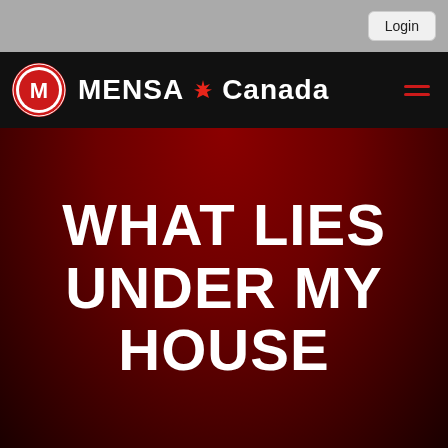Login
[Figure (logo): Mensa Canada navigation bar with Mensa logo (red circle with M), text 'MENSA Canada' with maple leaf, and hamburger menu icon]
WHAT LIES UNDER MY HOUSE